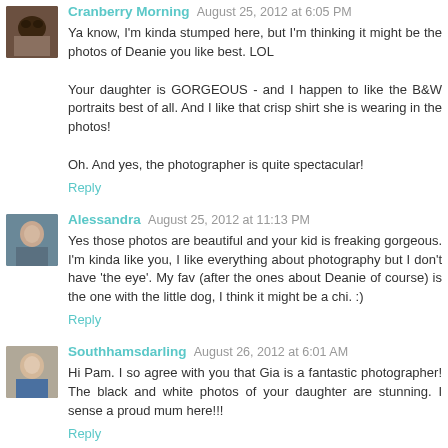[Figure (photo): Avatar photo of commenter (dog/pet visible)]
Cranberry Morning August 25, 2012 at 6:05 PM
Ya know, I'm kinda stumped here, but I'm thinking it might be the photos of Deanie you like best. LOL

Your daughter is GORGEOUS - and I happen to like the B&W portraits best of all. And I like that crisp shirt she is wearing in the photos!

Oh. And yes, the photographer is quite spectacular!

Reply
[Figure (photo): Avatar photo of Alessandra]
Alessandra August 25, 2012 at 11:13 PM
Yes those photos are beautiful and your kid is freaking gorgeous. I'm kinda like you, I like everything about photography but I don't have 'the eye'. My fav (after the ones about Deanie of course) is the one with the little dog, I think it might be a chi. :)

Reply
[Figure (photo): Avatar photo of Southhamsdarling]
Southhamsdarling August 26, 2012 at 6:01 AM
Hi Pam. I so agree with you that Gia is a fantastic photographer! The black and white photos of your daughter are stunning. I sense a proud mum here!!!

Reply